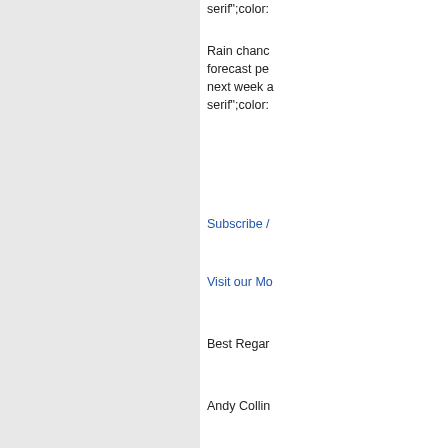serif";color:
Rain chance forecast pe next week a serif";color:
Subscribe /
Visit our Mo
Best Regar
Andy Collin
Moran-Gulf
Please reph (pta@mora
Disclaimer: For quality a the above i not intende pertaining t personnel. contacting t particular lo